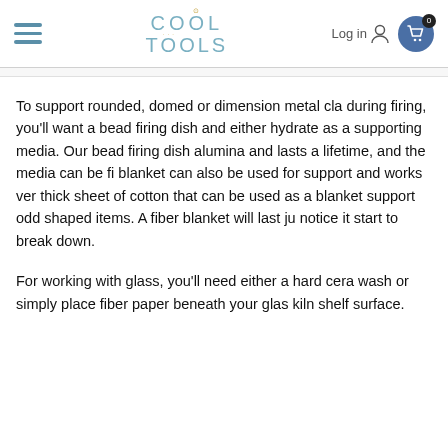Cool Tools — Log in, Cart
To support rounded, domed or dimension metal clay during firing, you'll want a bead firing dish and either hydrate as a supporting media. Our bead firing dish alumina and lasts a lifetime, and the media can be fi blanket can also be used for support and works ver thick sheet of cotton that can be used as a blanket support odd shaped items. A fiber blanket will last ju notice it start to break down.
For working with glass, you'll need either a hard cera wash or simply place fiber paper beneath your glas kiln shelf surface.